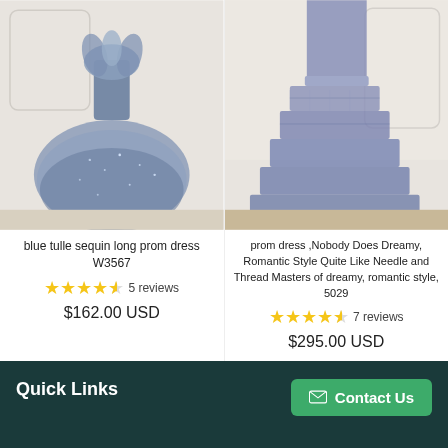[Figure (photo): Blue tulle sequin long prom dress product photo]
[Figure (photo): Blue tiered ruffle prom dress product photo]
blue tulle sequin long prom dress W3567
★★★★☆ 5 reviews
$162.00 USD
prom dress ,Nobody Does Dreamy, Romantic Style Quite Like Needle and Thread Masters of dreamy, romantic style, 5029
★★★★☆ 7 reviews
$295.00 USD
Quick Links    Contact Us